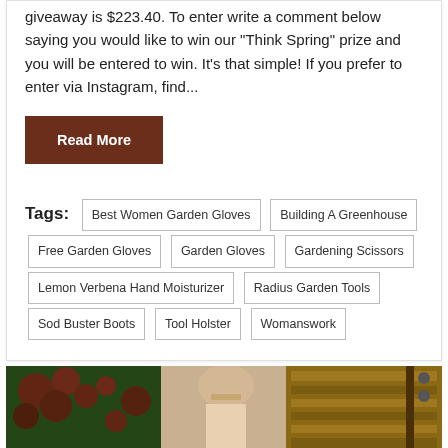giveaway is $223.40. To enter write a comment below saying you would like to win our "Think Spring" prize and you will be entered to win. It's that simple! If you prefer to enter via Instagram, find...
Read More
Tags: Best Women Garden Gloves Building A Greenhouse Free Garden Gloves Garden Gloves Gardening Scissors Lemon Verbena Hand Moisturizer Radius Garden Tools Sod Buster Boots Tool Holster Womanswork
[Figure (photo): Partial photo of a woman with blonde hair and glasses standing near red flowers and a wooden structure]